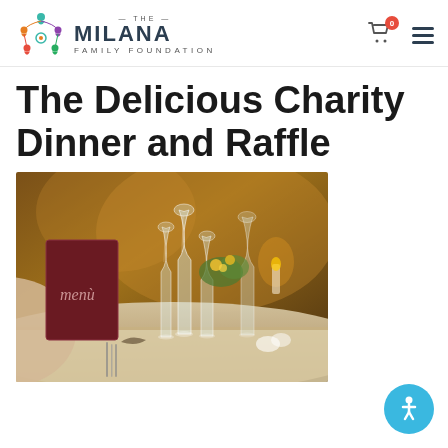The Milana Family Foundation
The Delicious Charity Dinner and Raffle
[Figure (photo): Elegantly set dining table with wine glasses, menu cards, cutlery, and floral centerpieces in warm restaurant lighting]